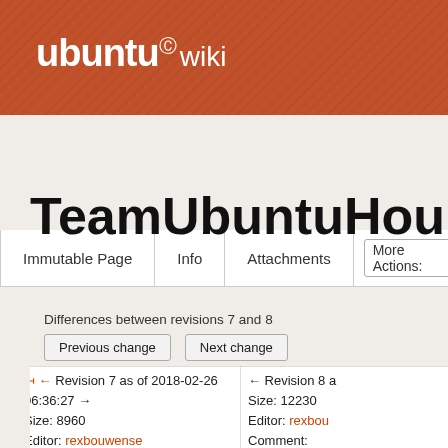ubuntu wiki
TeamUbuntuHours
Differences between revisions 7 and 8
| Revision 7 | Revision 8 |
| --- | --- |
| ← ← Revision 7 as of 2018-02-26 06:36:27 →
Size: 8960
Editor: rexbouwense
Comment: | ← Revision 8 a...
Size: 12230
Editor: rexbou...
Comment: |
| Deletions are marked like this. | Additions are m... |
| Line 14: | Line 14: |